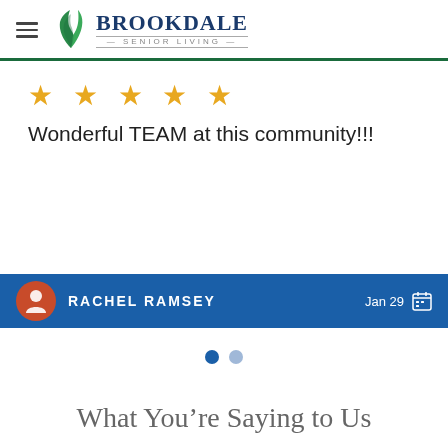Brookdale Senior Living
[Figure (other): Five gold star rating icons]
Wonderful TEAM at this community!!!
RACHEL RAMSEY  Jan 29
[Figure (other): Two navigation dots, one filled navy and one light blue]
What You’re Saying to Us